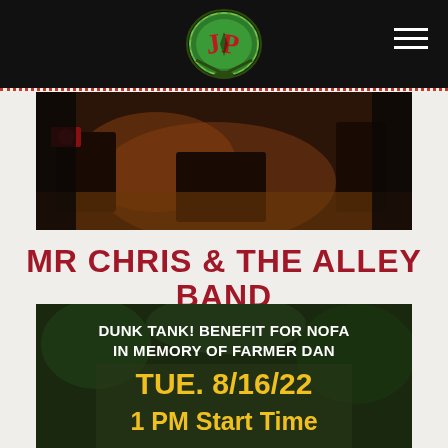[Figure (logo): Circular logo with red stylized letters JP on green oval background with decorative border]
[Figure (photo): Dark indoor photo of a band performing, with warm amber lighting and musical equipment visible]
MR CHRIS & THE ALLEY BAND
[Figure (photo): Event flyer overlaid on outdoor photo with text: DUNK TANK! BENEFIT FOR NOFA IN MEMORY OF FARMER DAN, TUE. 8/16/22, 1 PM Start Time]